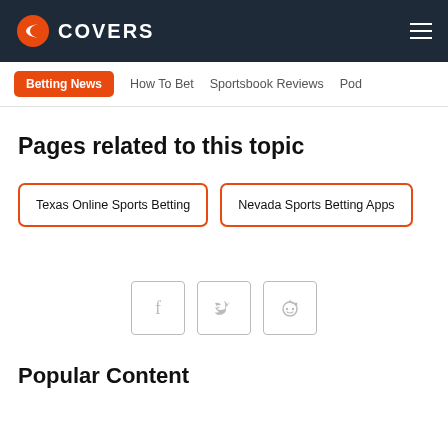COVERS
Betting News | How To Bet | Sportsbook Reviews | Pod
Pages related to this topic
Texas Online Sports Betting
Nevada Sports Betting Apps
[Figure (other): Social share icons: Facebook, Twitter, Reddit]
Popular Content